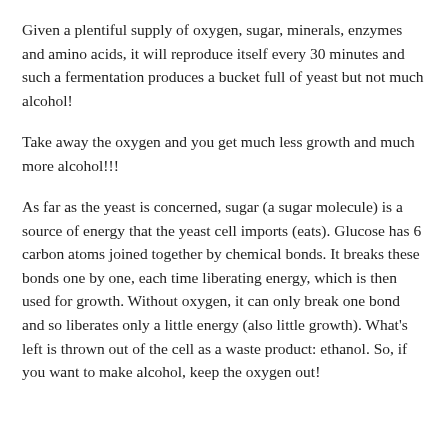Given a plentiful supply of oxygen, sugar, minerals, enzymes and amino acids, it will reproduce itself every 30 minutes and such a fermentation produces a bucket full of yeast but not much alcohol!
Take away the oxygen and you get much less growth and much more alcohol!!!
As far as the yeast is concerned, sugar (a sugar molecule) is a source of energy that the yeast cell imports (eats). Glucose has 6 carbon atoms joined together by chemical bonds. It breaks these bonds one by one, each time liberating energy, which is then used for growth. Without oxygen, it can only break one bond and so liberates only a little energy (also little growth). What's left is thrown out of the cell as a waste product: ethanol. So, if you want to make alcohol, keep the oxygen out!